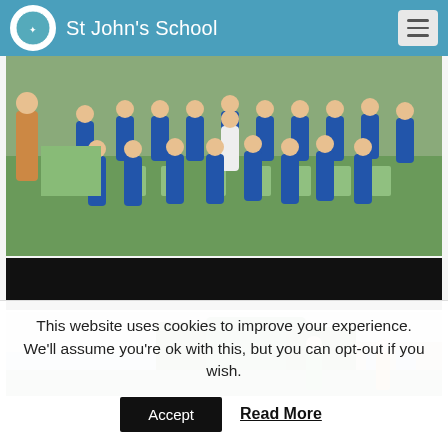St John's School
[Figure (photo): Group photo of primary school children in blue uniforms standing on a grass field with green chairs, outdoors at St John's School]
[Figure (photo): Black redacted bar covering text/image]
[Figure (photo): Outdoor photo showing children in a school grounds area with trees and a building in the background]
This website uses cookies to improve your experience. We'll assume you're ok with this, but you can opt-out if you wish.
Accept   Read More